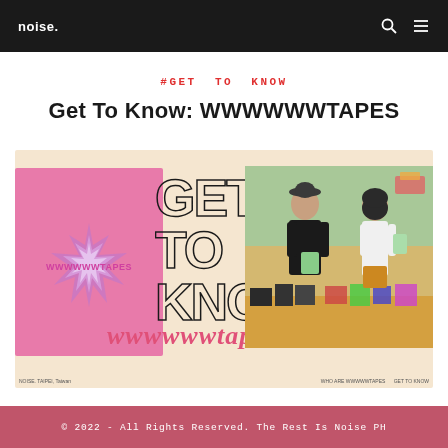noise.
#GET TO KNOW
Get To Know: WWWWWWTAPES
[Figure (photo): Hero banner image for Get To Know: WWWWWWTAPES article. Features a pink-toned graphic panel on the left with a starburst and WWWWWWTAPES text, a large outlined GET TO KNOW text in the center with pink cursive WWWWWWTAPES overlay, and a photo of two people (a man in black and a woman in white) standing at a merchandise table holding cassette tapes, on a warm beige background.]
© 2022 - All Rights Reserved. The Rest Is Noise PH